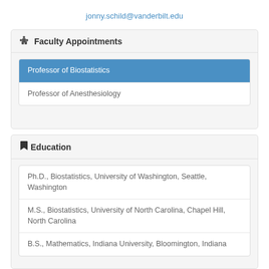jonny.schild@vanderbilt.edu
Faculty Appointments
Professor of Biostatistics
Professor of Anesthesiology
Education
Ph.D., Biostatistics, University of Washington, Seattle, Washington
M.S., Biostatistics, University of North Carolina, Chapel Hill, North Carolina
B.S., Mathematics, Indiana University, Bloomington, Indiana
Publications